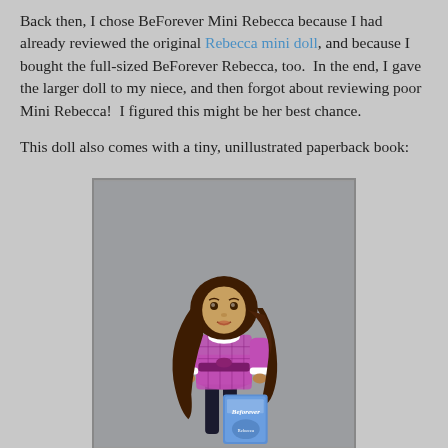Back then, I chose BeForever Mini Rebecca because I had already reviewed the original Rebecca mini doll, and because I bought the full-sized BeForever Rebecca, too.  In the end, I gave the larger doll to my niece, and then forgot about reviewing poor Mini Rebecca!  I figured this might be her best chance.
This doll also comes with a tiny, unillustrated paperback book:
[Figure (photo): Photo of BeForever Mini Rebecca doll wearing a purple plaid dress with white collar and velvet sash, with long dark brown hair, holding a small Beforever book in front of a gray background.]